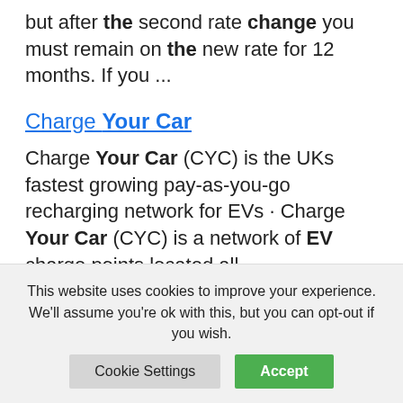but after the second rate change you must remain on the new rate for 12 months. If you ...
Charge Your Car
Charge Your Car (CYC) is the UKs fastest growing pay-as-you-go recharging network for EVs · Charge Your Car (CYC) is a network of EV charge points located all ...
This is f...
This website uses cookies to improve your experience. We'll assume you're ok with this, but you can opt-out if you wish.